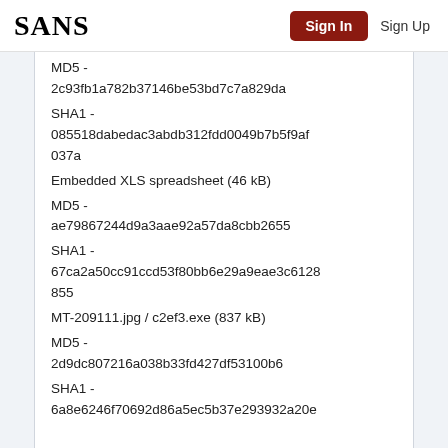SANS | Sign In | Sign Up
MD5 - 2c93fb1a782b37146be53bd7c7a829da
SHA1 - 085518dabedac3abdb312fdd0049b7b5f9af037a
Embedded XLS spreadsheet (46 kB)
MD5 - ae79867244d9a3aae92a57da8cbb2655
SHA1 - 67ca2a50cc91ccd53f80bb6e29a9eae3c6128855
MT-209111.jpg / c2ef3.exe (837 kB)
MD5 - 2d9dc807216a038b33fd427df53100b6
SHA1 - 6a8e6246f70692d86a5ec5b37e293932a20e